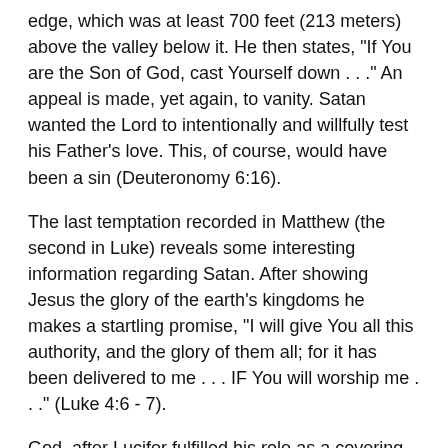edge, which was at least 700 feet (213 meters) above the valley below it. He then states, "If You are the Son of God, cast Yourself down . . ." An appeal is made, yet again, to vanity. Satan wanted the Lord to intentionally and willfully test his Father's love. This, of course, would have been a sin (Deuteronomy 6:16).
The last temptation recorded in Matthew (the second in Luke) reveals some interesting information regarding Satan. After showing Jesus the glory of the earth's kingdoms he makes a startling promise, "I will give You all this authority, and the glory of them all; for it has been delivered to me . . . IF You will worship me . . ." (Luke 4:6 - 7).
God, after Lucifer fulfilled his role as a covering cherub (Ezekiel 28:14), gave him a throne over the earth (Isaiah 14:13). He retained this throne, and its authority, after his sinned (John 12:31, 2Corinthians 4:3 - 4, Ephesians 2:1). Satan's final temptation offered Jesus immediate